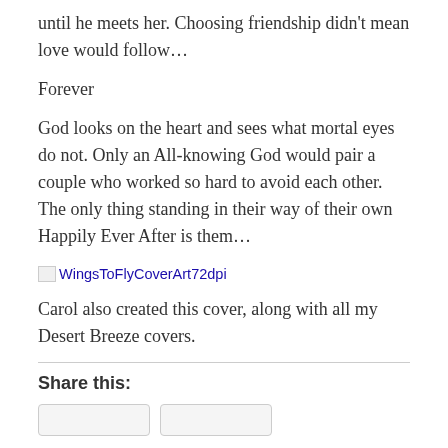until he meets her. Choosing friendship didn't mean love would follow…
Forever
God looks on the heart and sees what mortal eyes do not. Only an All-knowing God would pair a couple who worked so hard to avoid each other. The only thing standing in their way of their own Happily Ever After is them…
[Figure (other): Broken image placeholder labeled WingsToFlyCoverArt72dpi]
Carol also created this cover, along with all my Desert Breeze covers.
Share this: